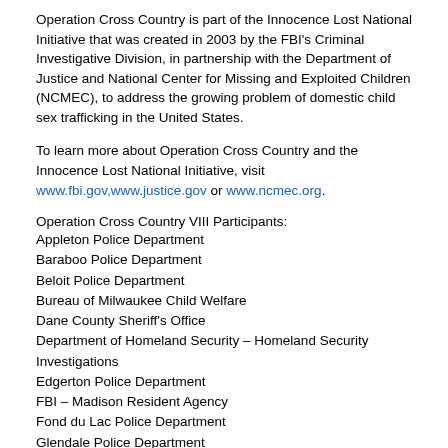Operation Cross Country is part of the Innocence Lost National Initiative that was created in 2003 by the FBI's Criminal Investigative Division, in partnership with the Department of Justice and National Center for Missing and Exploited Children (NCMEC), to address the growing problem of domestic child sex trafficking in the United States.
To learn more about Operation Cross Country and the Innocence Lost National Initiative, visit www.fbi.gov,www.justice.gov or www.ncmec.org.
Operation Cross Country VIII Participants:
Appleton Police Department
Baraboo Police Department
Beloit Police Department
Bureau of Milwaukee Child Welfare
Dane County Sheriff's Office
Department of Homeland Security – Homeland Security Investigations
Edgerton Police Department
FBI – Madison Resident Agency
Fond du Lac Police Department
Glendale Police Department
Kenosha County Sheriff's Department
Kenosha Police Department
Madison Police Department